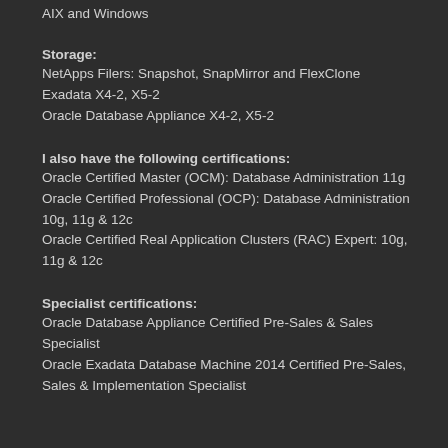AIX and Windows
Storage:
NetApps Filers: Snapshot, SnapMirror and FlexClone
Exadata X4-2, X5-2
Oracle Database Appliance X4-2, X5-2
I also have the following certifications:
Oracle Certified Master (OCM): Database Administration 11g
Oracle Certified Professional (OCP): Database Administration 10g, 11g & 12c
Oracle Certified Real Application Clusters (RAC) Expert: 10g, 11g & 12c
Specialist certifications:
Oracle Database Appliance Certified Pre-Sales & Sales Specialist
Oracle Exadata Database Machine 2014 Certified Pre-Sales, Sales & Implementation Specialist